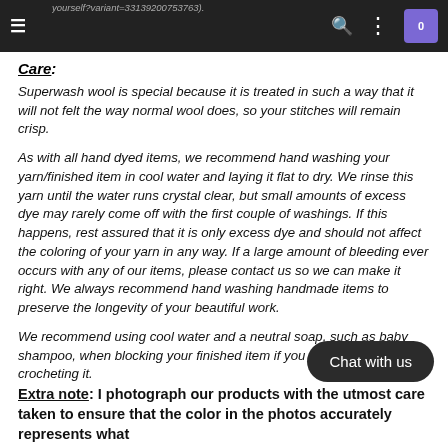yourself?variant=33139200753763).
Care:
Superwash wool is special because it is treated in such a way that it will not felt the way normal wool does, so your stitches will remain crisp.
As with all hand dyed items, we recommend hand washing your yarn/finished item in cool water and laying it flat to dry. We rinse this yarn until the water runs crystal clear, but small amounts of excess dye may rarely come off with the first couple of washings. If this happens, rest assured that it is only excess dye and should not affect the coloring of your yarn in any way. If a large amount of bleeding ever occurs with any of our items, please contact us so we can make it right. We always recommend hand washing handmade items to preserve the longevity of your beautiful work.
We recommend using cool water and a neutral soap, such as baby shampoo, when blocking your finished item if you are knitting or crocheting it.
Chat with us
Extra note: I photograph our products with the utmost care taken to ensure that the color in the photos accurately represents what